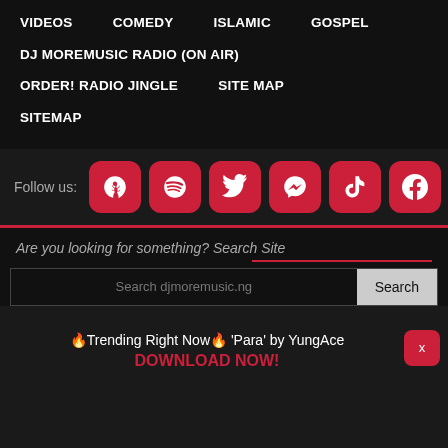VIDEOS    COMEDY    ISLAMIC    GOSPEL
DJ MOREMUSIC RADIO (ON AIR)
ORDER! RADIO JINGLE    SITE MAP
SITEMAP
Follow us: [social icons: Snapchat, Spotify, Twitter, Messenger, TikTok, Facebook]
Are you looking for something? Search Site
Search djmoremusic.ng
Search
🔥Trending Right Now🔥 'Para' by YungAce DOWNLOAD NOW!
x